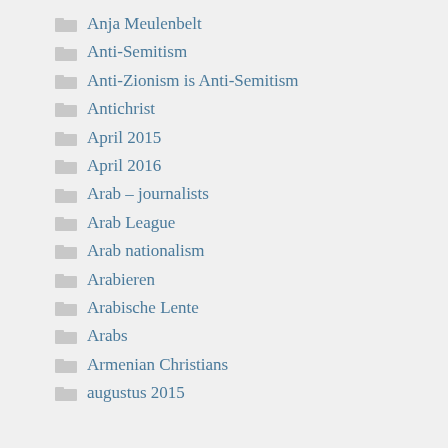Anja Meulenbelt
Anti-Semitism
Anti-Zionism is Anti-Semitism
Antichrist
April 2015
April 2016
Arab – journalists
Arab League
Arab nationalism
Arabieren
Arabische Lente
Arabs
Armenian Christians
augustus 2015